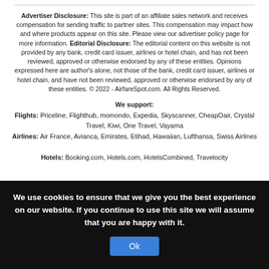Advertiser Disclosure: This site is part of an affiliate sales network and receives compensation for sending traffic to partner sites. This compensation may impact how and where products appear on this site. Please view our advertiser policy page for more information. Editorial Disclosure: The editorial content on this website is not provided by any bank, credit card issuer, airlines or hotel chain, and has not been reviewed, approved or otherwise endorsed by any of these entities. Opinions expressed here are author's alone, not those of the bank, credit card issuer, airlines or hotel chain, and have not been reviewed, approved or otherwise endorsed by any of these entities. © 2022 - AirfareSpot.com. All Rights Reserved.
We support: Flights: Priceline, Flighthub, momondo, Expedia, Skyscanner, CheapOair, Crystal Travel, Kiwi, One Travel, Vayama Airlines: Air France, Avianca, Emirates, Etihad, Hawaiian, Lufthansa, Swiss Airlines Hotels: Booking.com, Hotels.com, HotelsCombined, Travelocity
We use cookies to ensure that we give you the best experience on our website. If you continue to use this site we will assume that you are happy with it.